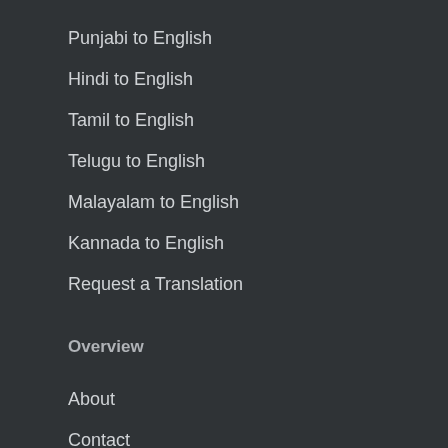Punjabi to English
Hindi to English
Tamil to English
Telugu to English
Malayalam to English
Kannada to English
Request a Translation
Overview
About
Contact
Disclaimer
Legal Statement